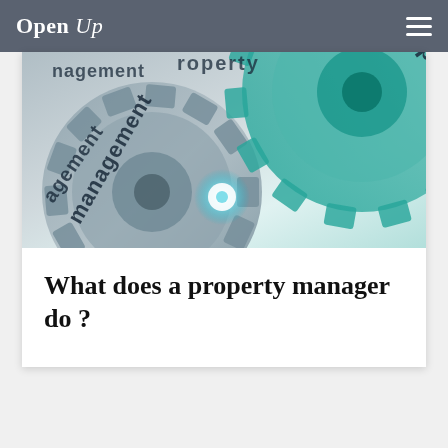Open Up
[Figure (illustration): Close-up photo of metallic interlocking gears with the words 'Property Management' engraved on them, with a glowing blue-white light at the center where the gears meet.]
What does a property manager do ?